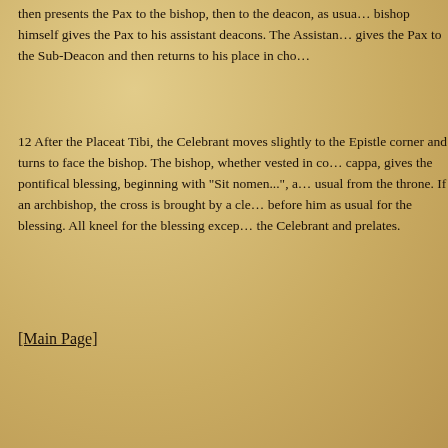then presents the Pax to the bishop, then to the deacon, as usual. The bishop himself gives the Pax to his assistant deacons. The Assistant Deacon gives the Pax to the Sub-Deacon and then returns to his place in cho...
12 After the Placeat Tibi, the Celebrant moves slightly to the Epistle corner and turns to face the bishop. The bishop, whether vested in cope or cappa, gives the pontifical blessing, beginning with "Sit nomen...", as usual from the throne. If an archbishop, the cross is brought by a cleric before him as usual for the blessing. All kneel for the blessing except the Celebrant and prelates.
[Main Page]